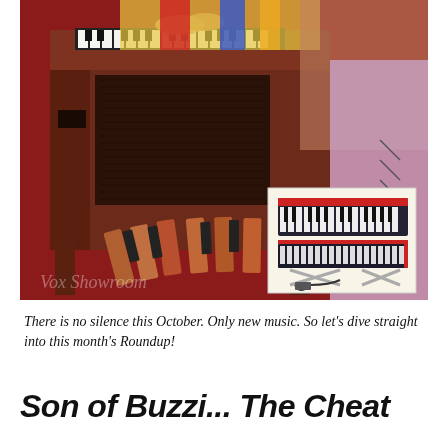[Figure (photo): Photograph of a person playing a large wooden organ/keyboard instrument with bass pedals, on a red carpet. An inset photo in the lower right shows a smaller portable keyboard/synthesizer on a stand with a foot pedal. Watermark text 'Vox Showroom' visible at bottom left of main photo.]
There is no silence this October. Only new music. So let's dive straight into this month's Roundup!
Son of Buzzi... The Cheat